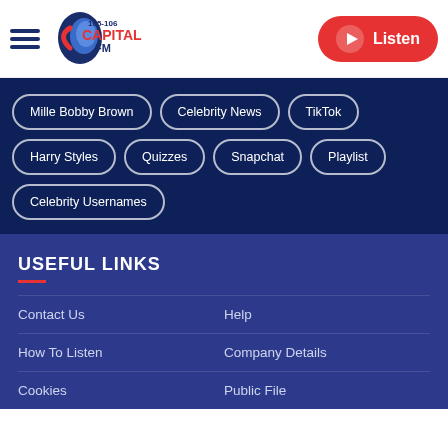[Figure (logo): Capital FM 105-106 radio station logo with blue and red branding]
Mille Bobby Brown
Celebrity News
TikTok
Harry Styles
Quizzes
Snapchat
Playlist
Celebrity Usernames
USEFUL LINKS
Contact Us
Help
How To Listen
Company Details
Cookies
Public File